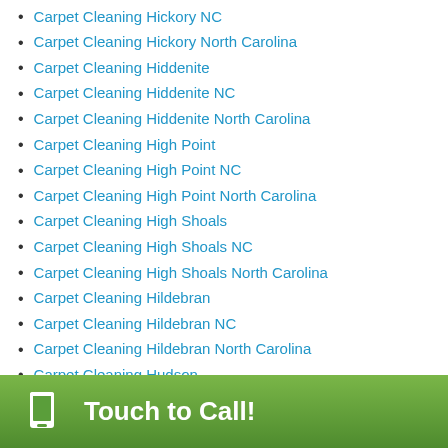Carpet Cleaning Hickory NC
Carpet Cleaning Hickory North Carolina
Carpet Cleaning Hiddenite
Carpet Cleaning Hiddenite NC
Carpet Cleaning Hiddenite North Carolina
Carpet Cleaning High Point
Carpet Cleaning High Point NC
Carpet Cleaning High Point North Carolina
Carpet Cleaning High Shoals
Carpet Cleaning High Shoals NC
Carpet Cleaning High Shoals North Carolina
Carpet Cleaning Hildebran
Carpet Cleaning Hildebran NC
Carpet Cleaning Hildebran North Carolina
Carpet Cleaning Hudson
Carpet Cleaning Hudson NC
Carpet Cleaning Hudson North Carolina
Touch to Call!